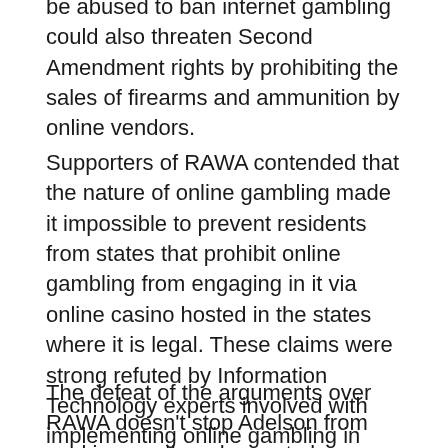be abused to ban internet gambling could also threaten Second Amendment rights by prohibiting the sales of firearms and ammunition by online vendors.
Supporters of RAWA contended that the nature of online gambling made it impossible to prevent residents from states that prohibit online gambling from engaging in it via online casino hosted in the states where it is legal. These claims were strong refuted by Information Technology experts involved with implementing online gambling in New Jersey and Nevada testified about the use of technology that allows online casino operators to block citizens from states that prohibit online gambling from participating on their online casinos.
The defeat of the arguments over RAWA doesn't stop Adelson from seeking another chance to ban internet-based gambling. The timing of the Cotton legislation on Sept. 21 of